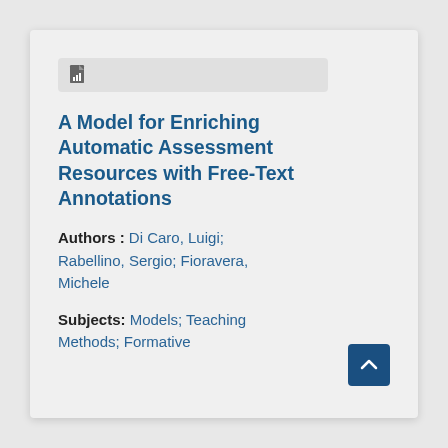[Figure (other): Document icon with bar chart, inside a gray pill/bar UI element]
A Model for Enriching Automatic Assessment Resources with Free-Text Annotations
Authors : Di Caro, Luigi; Rabellino, Sergio; Fioravera, Michele
Subjects: Models; Teaching Methods; Formative